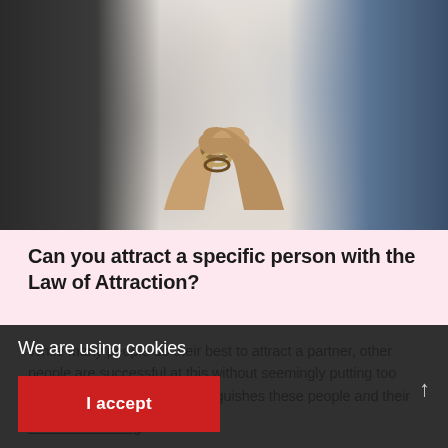[Figure (photo): Two people holding hands against a white brick wall background. One person in dark clothing on the left, one in a blue checked shirt on the right. The woman's wrist has bracelets/bangles visible.]
Can you attract a specific person with the Law of Attraction?
While many people do their best to attract a partner, other people are successful at this without seemingly putting too much effort into it. What distinguishes these people and their tactics? How do they do...
Continue reading →
We are using cookies
I accept